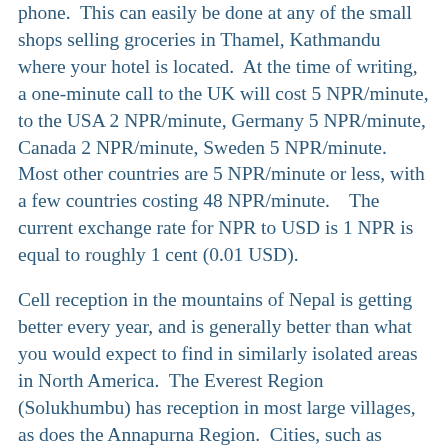phone.  This can easily be done at any of the small shops selling groceries in Thamel, Kathmandu where your hotel is located.  At the time of writing, a one-minute call to the UK will cost 5 NPR/minute, to the USA 2 NPR/minute, Germany 5 NPR/minute, Canada 2 NPR/minute, Sweden 5 NPR/minute.  Most other countries are 5 NPR/minute or less, with a few countries costing 48 NPR/minute.   The current exchange rate for NPR to USD is 1 NPR is equal to roughly 1 cent (0.01 USD).
Cell reception in the mountains of Nepal is getting better every year, and is generally better than what you would expect to find in similarly isolated areas in North America.  The Everest Region (Solukhumbu) has reception in most large villages, as does the Annapurna Region.  Cities, such as Kathmandu and Pokhara, also have good coverage.  If